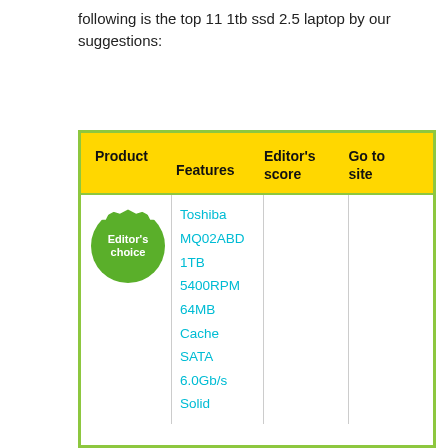following is the top 11 1tb ssd 2.5 laptop by our suggestions:
| Product | Features | Editor's score | Go to site |
| --- | --- | --- | --- |
| Editor's choice | Toshiba MQ02ABD 1TB 5400RPM 64MB Cache SATA 6.0Gb/s Solid |  |  |